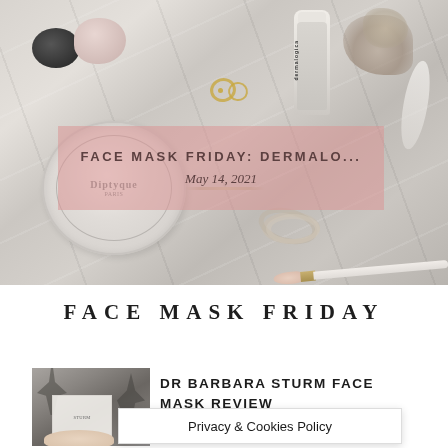[Figure (photo): Flatlay beauty/skincare products on marble surface including a Diptyque tin, Dermalogica bottle, makeup brush, hair ties, crystals and a feather. A semi-transparent pink rectangle overlays the center with the post title and date.]
FACE MASK FRIDAY: DERMALO...
May 14, 2021
FACE MASK FRIDAY
[Figure (photo): Thumbnail image showing a hand holding a Dr Barbara Sturm face mask packet against a grey tropical foliage background.]
DR BARBARA STURM FACE MASK REVIEW
Privacy & Cookies Policy